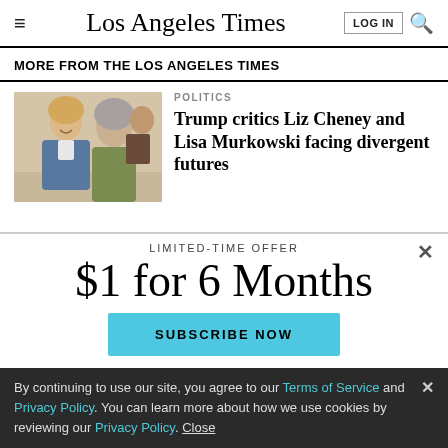Los Angeles Times
MORE FROM THE LOS ANGELES TIMES
[Figure (photo): Two women talking at an event, one smiling with blonde hair in a patterned jacket]
POLITICS
Trump critics Liz Cheney and Lisa Murkowski facing divergent futures
LIMITED-TIME OFFER
$1 for 6 Months
SUBSCRIBE NOW
By continuing to use our site, you agree to our Terms of Service and Privacy Policy. You can learn more about how we use cookies by reviewing our Privacy Policy. Close